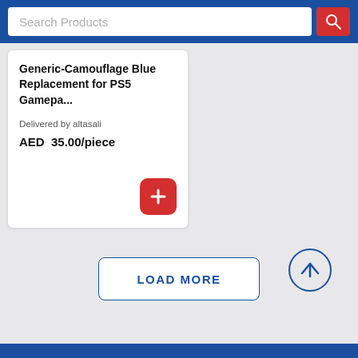Search Products
Generic-Camouflage Blue Replacement for PS5 Gamepa...
Delivered by altasali
AED  35.00/piece
[Figure (other): Scroll to top circle button with up arrow]
LOAD MORE